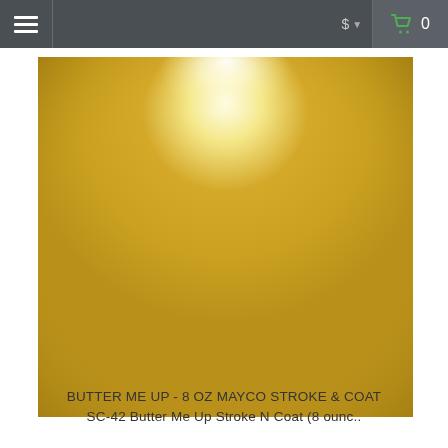Navigation bar with hamburger menu, currency selector ($), and shopping cart (0)
[Figure (photo): Close-up photo of a glossy yellow-gold ceramic glaze swatch with a bright specular highlight at the top center, showing the color of Mayco Stroke & Coat SC-42 Butter Me Up glaze]
BUTTER ME UP - 8 OZ MAYCO STROKE & COAT SC-42 Butter Me Up Stroke N Coat (8 ounc..